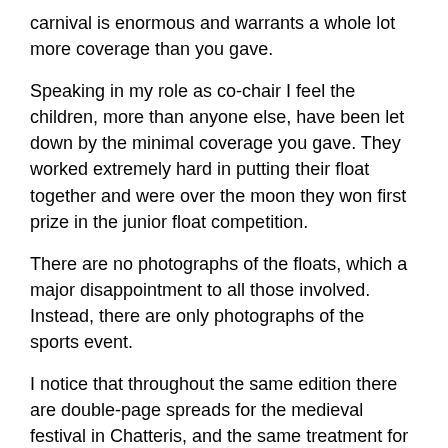carnival is enormous and warrants a whole lot more coverage than you gave.
Speaking in my role as co-chair I feel the children, more than anyone else, have been let down by the minimal coverage you gave. They worked extremely hard in putting their float together and were over the moon they won first prize in the junior float competition.
There are no photographs of the floats, which a major disappointment to all those involved. Instead, there are only photographs of the sports event.
I notice that throughout the same edition there are double-page spreads for the medieval festival in Chatteris, and the same treatment for the Rose Fair in Wisbech (they actually received a four-page spread with countless photos). Why is it that you believe the Doddington carnival deserves much less?